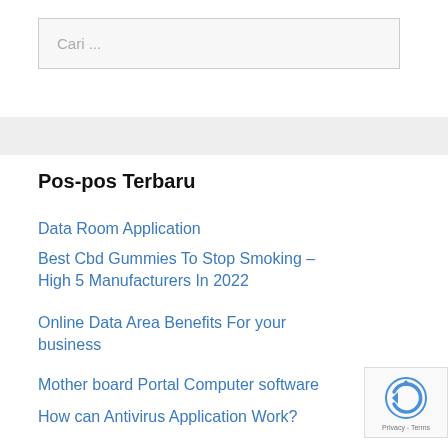Cari ...
Pos-pos Terbaru
Data Room Application
Best Cbd Gummies To Stop Smoking – High 5 Manufacturers In 2022
Online Data Area Benefits For your business
Mother board Portal Computer software
How can Antivirus Application Work?
[Figure (other): reCAPTCHA badge with Privacy - Terms text]